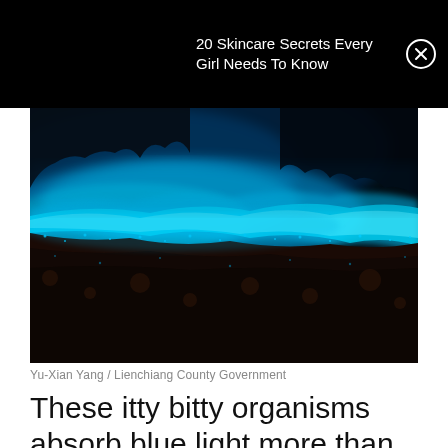20 Skincare Secrets Every Girl Needs To Know
[Figure (photo): Bioluminescent blue waves washing over a dark rocky shore at night, with glowing blue light illuminating the water and rocks]
Yu-Xian Yang / Lienchiang County Government
These itty bitty organisms absorb blue light more than red light. They even